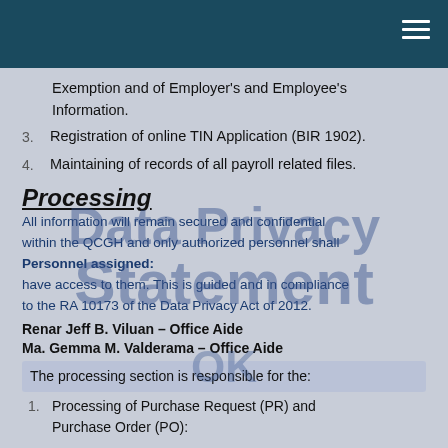Exemption and of Employer's and Employee's Information.
3. Registration of online TIN Application (BIR 1902).
4. Maintaining of records of all payroll related files.
[Figure (other): Data Privacy Statement watermark overlay text]
Processing
All information will remain secured and confidential within the QCGH and only authorized personnel shall have access to them. This is guided and in compliance to the RA 10173 of the Data Privacy Act of 2012.
Personnel assigned:
Renar Jeff B. Viluan – Office Aide
Ma. Gemma M. Valderama – Office Aide
The processing section is responsible for the:
1. Processing of Purchase Request (PR) and Purchase Order (PO):